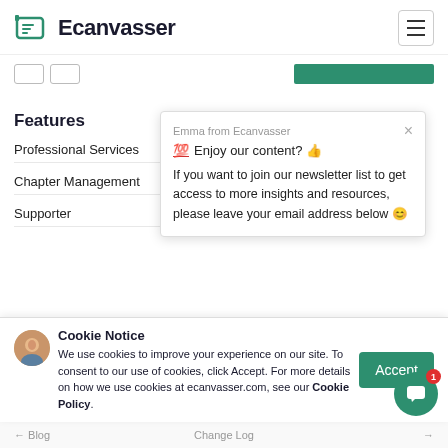[Figure (logo): Ecanvasser logo with green clipboard icon and bold text 'Ecanvasser']
Features
Professional Services
Chapter Management
Supporter
[Figure (screenshot): Newsletter popup from Emma at Ecanvasser: '💯 Enjoy our content? 👍 If you want to join our newsletter list to get access to more insights and resources, please leave your email address below 😊']
Cookie Notice
We use cookies to improve your experience on our site. To consent to our use of cookies, click Accept. For more details on how we use cookies at ecanvasser.com, see our Cookie Policy.
Blog   Change Log